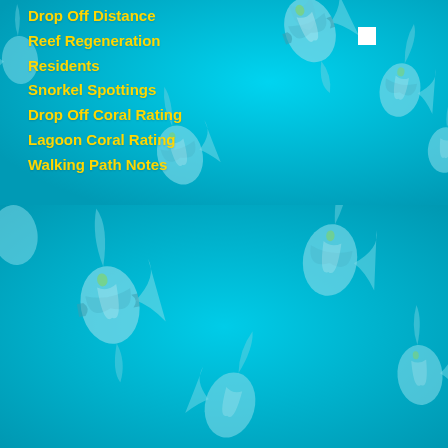[Figure (illustration): Underwater scene with tropical fish (bannerfish/moorish idol style) on teal/cyan blue background, top section with menu overlay]
Drop Off Distance
Reef Regeneration
Residents
Snorkel Spottings
Drop Off Coral Rating
Lagoon Coral Rating
Walking Path Notes
[Figure (illustration): Underwater scene with tropical fish (bannerfish/moorish idol style) on teal/cyan blue background, bottom section]